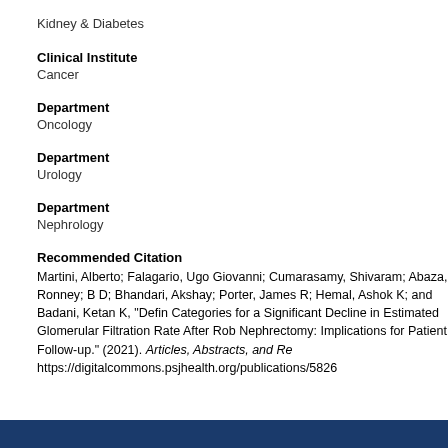Kidney & Diabetes
Clinical Institute
Cancer
Department
Oncology
Department
Urology
Department
Nephrology
Recommended Citation
Martini, Alberto; Falagario, Ugo Giovanni; Cumarasamy, Shivaram; Abaza, Ronney; B D; Bhandari, Akshay; Porter, James R; Hemal, Ashok K; and Badani, Ketan K, "Defin Categories for a Significant Decline in Estimated Glomerular Filtration Rate After Rob Nephrectomy: Implications for Patient Follow-up." (2021). Articles, Abstracts, and Re https://digitalcommons.psjhealth.org/publications/5826